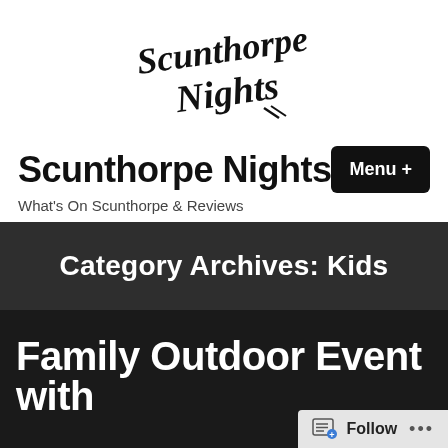[Figure (logo): Scunthorpe Nights handwritten script logo in black ink on white background]
Scunthorpe Nights
What's On Scunthorpe & Reviews
Category Archives: Kids
Family Outdoor Event with
Follow